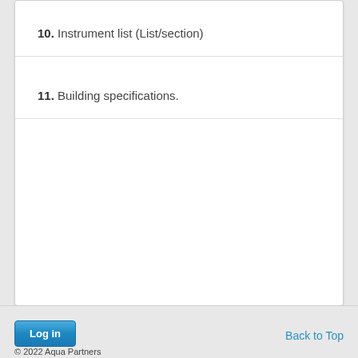10. Instrument list (List/section)
11. Building specifications.
Log in   Back to Top   © 2022 Aqua Partners